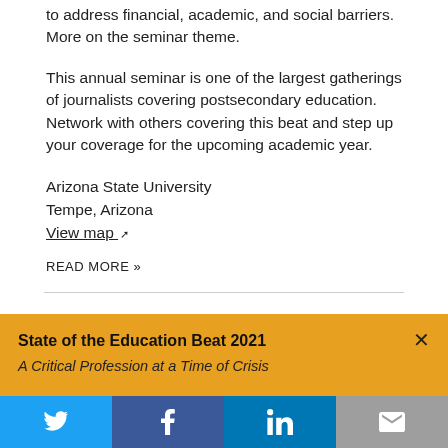to address financial, academic, and social barriers. More on the seminar theme.
This annual seminar is one of the largest gatherings of journalists covering postsecondary education. Network with others covering this beat and step up your coverage for the upcoming academic year.
Arizona State University
Tempe, Arizona
View map
READ MORE »
State of the Education Beat 2021
A Critical Profession at a Time of Crisis